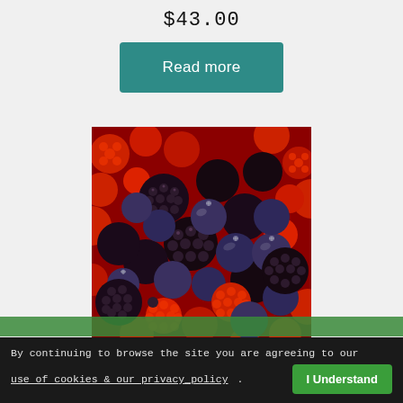$43.00
Read more
[Figure (photo): Close-up photo of mixed berries including blackberries, blueberries, and raspberries packed together]
By continuing to browse the site you are agreeing to our use of cookies & our privacy_policy. I Understand